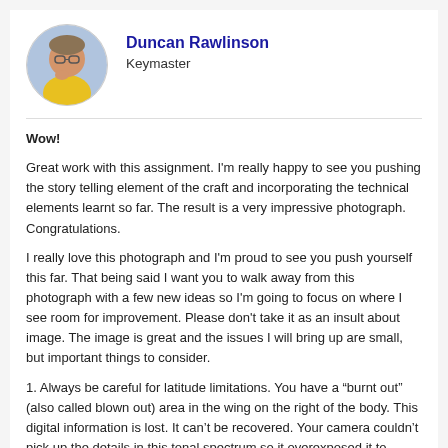[Figure (photo): Circular profile photo of Duncan Rawlinson, a man wearing a yellow shirt]
Duncan Rawlinson
Keymaster
Wow!
Great work with this assignment. I'm really happy to see you pushing the story telling element of the craft and incorporating the technical elements learnt so far. The result is a very impressive photograph. Congratulations.
I really love this photograph and I'm proud to see you push yourself this far. That being said I want you to walk away from this photograph with a few new ideas so I'm going to focus on where I see room for improvement. Please don't take it as an insult about image. The image is great and the issues I will bring up are small, but important things to consider.
1. Always be careful for latitude limitations. You have a “burnt out” (also called blown out) area in the wing on the right of the body. This digital information is lost. It can’t be recovered. Your camera couldn’t pick up the details in this tonal spectrum so it overexposed it to compensate for the